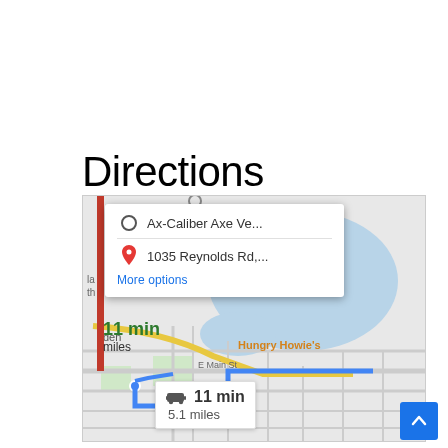Directions
[Figure (map): Google Maps screenshot showing directions from Ax-Caliber Axe Ve... to 1035 Reynolds Rd,... with a popup showing origin and destination, a route highlighted in blue, travel time of 11 min and 5.1 miles, and a label showing 11 min / miles on the left side. Streets include E Main St and a label for Hungry Howie's.]